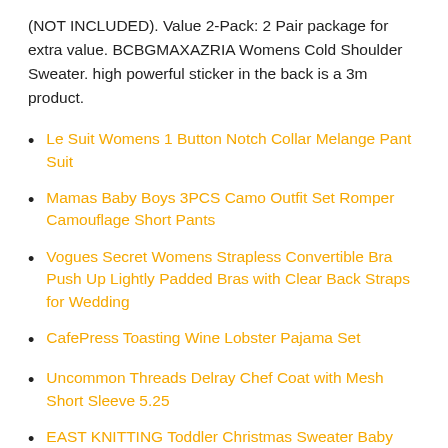(NOT INCLUDED). Value 2-Pack: 2 Pair package for extra value. BCBGMAXAZRIA Womens Cold Shoulder Sweater. high powerful sticker in the back is a 3m product.
Le Suit Womens 1 Button Notch Collar Melange Pant Suit
Mamas Baby Boys 3PCS Camo Outfit Set Romper Camouflage Short Pants
Vogues Secret Womens Strapless Convertible Bra Push Up Lightly Padded Bras with Clear Back Straps for Wedding
CafePress Toasting Wine Lobster Pajama Set
Uncommon Threads Delray Chef Coat with Mesh Short Sleeve 5.25
EAST KNITTING Toddler Christmas Sweater Baby Girl Boy Pullover Long Sleeve Sweatshirt Winter